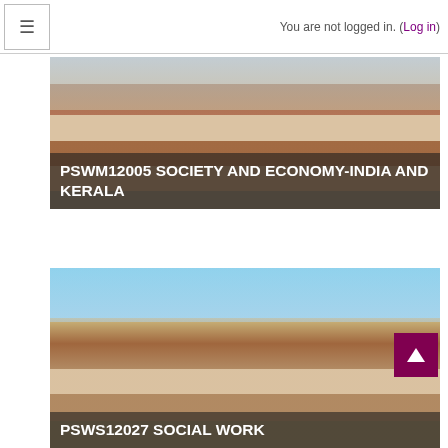You are not logged in. (Log in)
[Figure (photo): University building with tiled roof — course card for PSWM12005 Society And Economy-India And Kerala]
PSWM12005 SOCIETY AND ECONOMY-INDIA AND KERALA
[Figure (photo): University building with clock tower and signage reading SREESANKARACHARYA UNIVERSITY OF SANSKRIT — course card for PSWS12027 Social Work]
PSWS12027 SOCIAL WORK